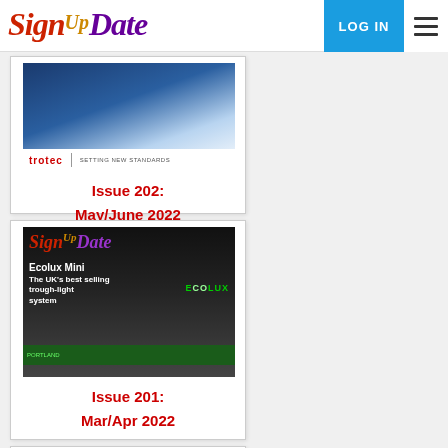SignDate — LOG IN
[Figure (screenshot): Magazine cover for Issue 202 May/June 2022 featuring Trotec branding]
Issue 202:
May/June 2022
[Figure (screenshot): Magazine cover for Issue 201 Mar/Apr 2022 featuring Ecolux Mini trough-light system on SignDate magazine]
Issue 201:
Mar/Apr 2022